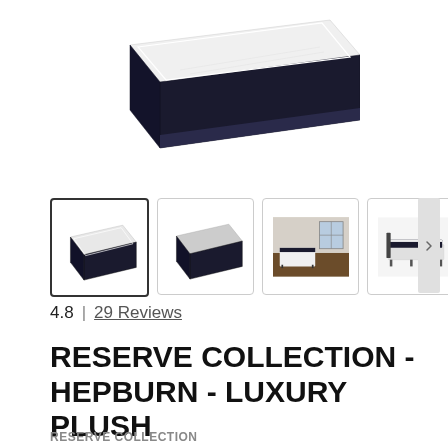[Figure (photo): Main product image of a dark navy/black mattress shown at an angle from above on white background]
[Figure (photo): Thumbnail 1 (selected): mattress shown at angle, dark navy with white top, selected state with dark border]
[Figure (photo): Thumbnail 2: dark navy mattress shown at angle]
[Figure (photo): Thumbnail 3: bedroom lifestyle photo with mattress on bed frame]
[Figure (photo): Thumbnail 4: mattress on bed frame, side view]
4.8  |  29 Reviews
RESERVE COLLECTION - HEPBURN - LUXURY PLUSH
RESERVE COLLECTION